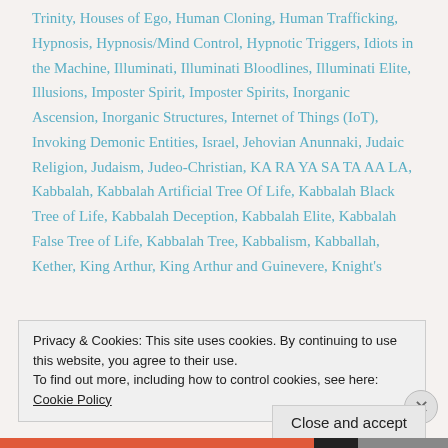Trinity, Houses of Ego, Human Cloning, Human Trafficking, Hypnosis, Hypnosis/Mind Control, Hypnotic Triggers, Idiots in the Machine, Illuminati, Illuminati Bloodlines, Illuminati Elite, Illusions, Imposter Spirit, Imposter Spirits, Inorganic Ascension, Inorganic Structures, Internet of Things (IoT), Invoking Demonic Entities, Israel, Jehovian Anunnaki, Judaic Religion, Judaism, Judeo-Christian, KA RA YA SA TA AA LA, Kabbalah, Kabbalah Artificial Tree Of Life, Kabbalah Black Tree of Life, Kabbalah Deception, Kabbalah Elite, Kabbalah False Tree of Life, Kabbalah Tree, Kabbalism, Kabballah, Kether, King Arthur, King Arthur and Guinevere, Knight's
Privacy & Cookies: This site uses cookies. By continuing to use this website, you agree to their use.
To find out more, including how to control cookies, see here: Cookie Policy